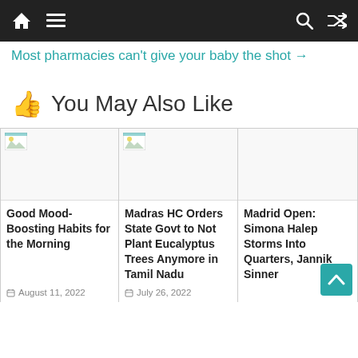Navigation bar with home, menu, search, and shuffle icons
Most pharmacies can't give your baby the shot →
👍 You May Also Like
[Figure (screenshot): Broken image placeholder for article 1]
Good Mood-Boosting Habits for the Morning
August 11, 2022
[Figure (screenshot): Broken image placeholder for article 2]
Madras HC Orders State Govt to Not Plant Eucalyptus Trees Anymore in Tamil Nadu
July 26, 2022
Madrid Open: Simona Halep Storms Into Quarters, Jannik Sinner